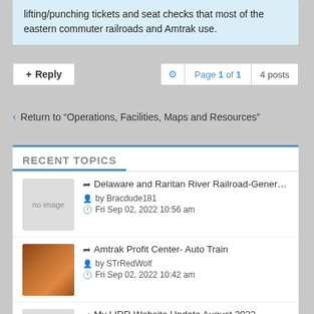lifting/punching tickets and seat checks that most of the eastern commuter railroads and Amtrak use.
+ Reply  ⚙ Page 1 of 1  4 posts
‹ Return to "Operations, Facilities, Maps and Resources"
RECENT TOPICS
Delaware and Raritan River Railroad-Gener... by Bracdude181 Fri Sep 02, 2022 10:56 am
Amtrak Profit Center- Auto Train by STrRedWolf Fri Sep 02, 2022 10:42 am
My LIRR Website Update August 2022